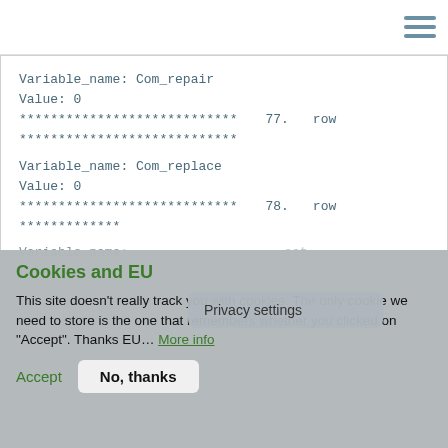Variable_name: Com_repair
Value: 0
**************************** 77. row
****************************
Variable_name: Com_replace
Value: 0
**************************** 78. row
****************************
Variable_name: ...est
Privacy settings
Cookies and EU
This site doesn't really track you with cookies. The only cookie we need to store is the one that remembers whether you clicked on "Accept". Thanks EU… More info
Accept   No, thanks